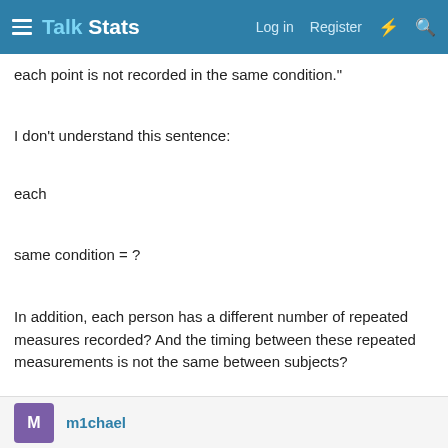Talk Stats | Log in  Register
each point is not recorded in the same condition."
I don't understand this sentence:
each one = ?
same condition = ?
In addition, each person has a different number of repeated measures recorded? And the timing between these repeated measurements is not the same between subjects?
m1chael